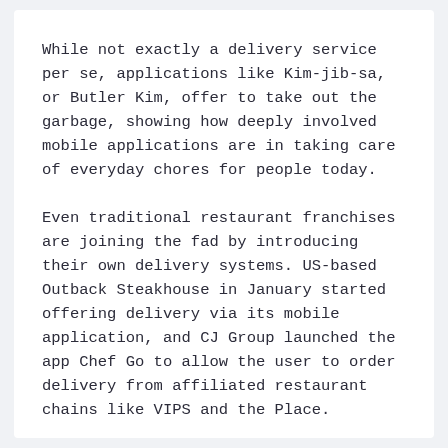While not exactly a delivery service per se, applications like Kim-jib-sa, or Butler Kim, offer to take out the garbage, showing how deeply involved mobile applications are in taking care of everyday chores for people today.
Even traditional restaurant franchises are joining the fad by introducing their own delivery systems. US-based Outback Steakhouse in January started offering delivery via its mobile application, and CJ Group launched the app Chef Go to allow the user to order delivery from affiliated restaurant chains like VIPS and the Place.